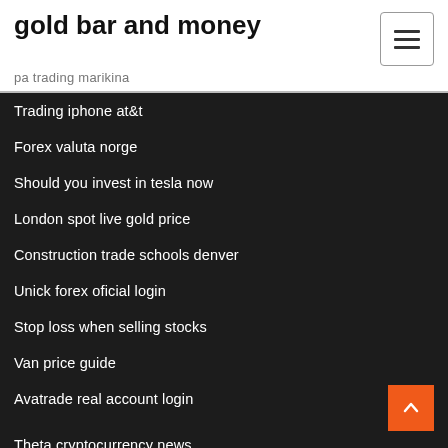gold bar and money
pa trading marikina
Trading iphone at&t
Forex valuta norge
Should you invest in tesla now
London spot live gold price
Construction trade schools denver
Unick forex oficial login
Stop loss when selling stocks
Van price guide
Avatrade real account login
Theta cryptocurrency news